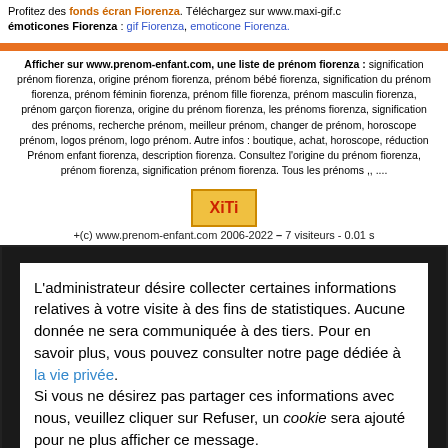Profitez des fonds écran Fiorenza. Téléchargez sur www.maxi-gif.c émoticones Fiorenza : gif Fiorenza, emoticone Fiorenza.
Afficher sur www.prenom-enfant.com, une liste de prénom fiorenza : signification prénom fiorenza, origine prénom fiorenza, prénom bébé fiorenza, signification du prénom fiorenza, prénom féminin fiorenza, prénom fille fiorenza, prénom masculin fiorenza, prénom garçon fiorenza, origine du prénom fiorenza, les prénoms fiorenza, signification des prénoms, recherche prénom, meilleur prénom, changer de prénom, horoscope prénom, logos prénom, logo prénom. Autre infos : boutique, achat, horoscope, réduction Prénom enfant fiorenza, description fiorenza. Consultez l'origine du prénom fiorenza, prénom fiorenza, signification prénom fiorenza. Tous les prénoms ,, ....
[Figure (logo): XiTi logo button with orange/yellow background and red text]
+(c) www.prenom-enfant.com 2006-2022 - 7 visiteurs - 0.01 s
L'administrateur désire collecter certaines informations relatives à votre visite à des fins de statistiques. Aucune donnée ne sera communiquée à des tiers. Pour en savoir plus, vous pouvez consulter notre page dédiée à la vie privée. Si vous ne désirez pas partager ces informations avec nous, veuillez cliquer sur Refuser, un cookie sera ajouté pour ne plus afficher ce message. Si vous enclenchez l'option "Do Not Track" ("Ne pas me cibler") sur votre navigateur vous n'aurez plus ce message, et nous ne vous ciblerons jamais.
Refuser
Accepter